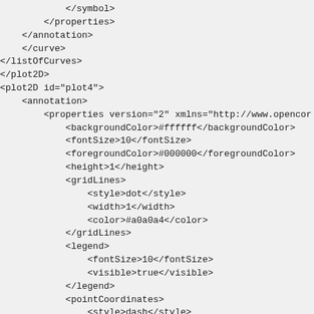</symbol>
        </properties>
    </annotation>
    </curve>
</listOfCurves>
</plot2D>
<plot2D id="plot4">
    <annotation>
        <properties version="2" xmlns="http://www.opencor
            <backgroundColor>#ffffff</backgroundColor>
            <fontSize>10</fontSize>
            <foregroundColor>#000000</foregroundColor>
            <height>1</height>
            <gridLines>
                <style>dot</style>
                <width>1</width>
                <color>#a0a0a4</color>
            </gridLines>
            <legend>
                <fontSize>10</fontSize>
                <visible>true</visible>
            </legend>
            <pointCoordinates>
                <style>dash</style>
                <width>1</width>
                <color>#b0008080</color>
                <fontColor>#ffffff</fontColor>
                <fontSize>10</fontSize>
            </pointCoordinates>